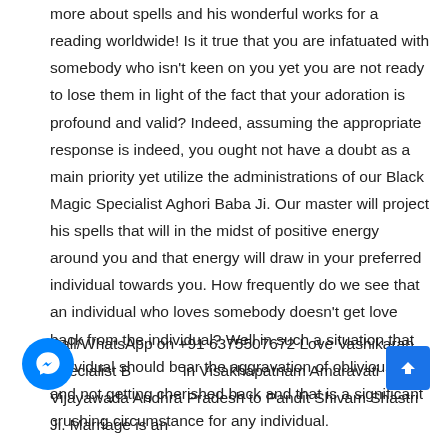more about spells and his wonderful works for a reading worldwide! Is it true that you are infatuated with somebody who isn't keen on you yet you are not ready to lose them in light of the fact that your adoration is profound and valid? Indeed, assuming the appropriate response is indeed, you ought not have a doubt as a main priority yet utilize the administrations of our Black Magic Specialist Aghori Baba Ji. Our master will project his spells that will in the midst of positive energy around you and that energy will draw in your preferred individual towards you. How frequently do we see that an individual who loves somebody doesn't get love back from the individual? Well in such a situation that individual should bear the aggravation of obliviousness and not getting cherished back and that is a significant crushing circumstance for any individual.
Call/WhatsApp on +91 6375507672 Love Vashikaran Specialist Baba Ji in Visakhapatnam Amaravati Vijayawada Andhra Pradesh to Pandit Shivam Shastri Ji. Marriage is an